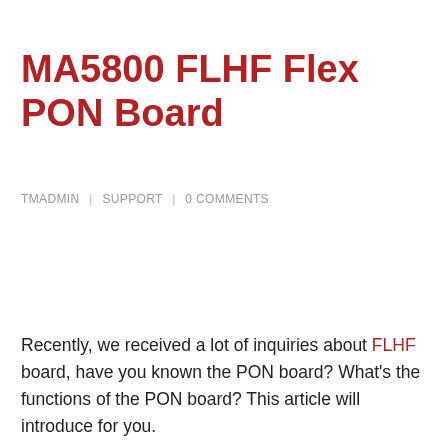MA5800 FLHF Flex PON Board
TMADMIN | SUPPORT | 0 COMMENTS
Recently, we received a lot of inquiries about FLHF board, have you known the PON board? What's the functions of the PON board? This article will introduce for you.